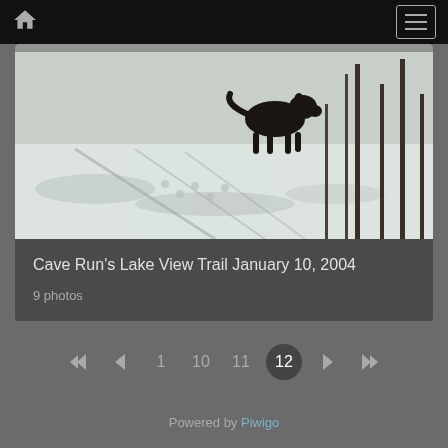Home / Menu navigation bar
[Figure (photo): A dog standing on a snow-covered trail with trees and shadows visible in the background — Cave Run's Lake View Trail January 10, 2004]
Cave Run's Lake View Trail January 10, 2004
9 photos
1  10  11  12
Powered by Piwigo